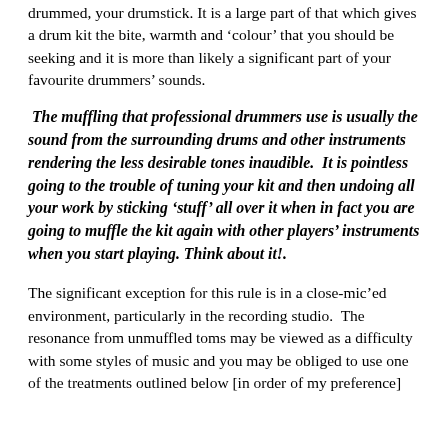drummed, your drumstick. It is a large part of that which gives a drum kit the bite, warmth and ‘colour’ that you should be seeking and it is more than likely a significant part of your favourite drummers’ sounds.
The muffling that professional drummers use is usually the sound from the surrounding drums and other instruments rendering the less desirable tones inaudible. It is pointless going to the trouble of tuning your kit and then undoing all your work by sticking ‘stuff’ all over it when in fact you are going to muffle the kit again with other players’ instruments when you start playing. Think about it!.
The significant exception for this rule is in a close-mic’ed environment, particularly in the recording studio. The resonance from unmuffled toms may be viewed as a difficulty with some styles of music and you may be obliged to use one of the treatments outlined below [in order of my preference]